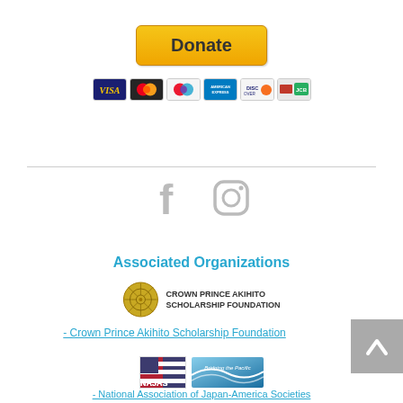[Figure (other): PayPal Donate button with credit card icons (Visa, Mastercard, Maestro, Amex, Discover, and another card)]
[Figure (other): Social media icons: Facebook (f) and Instagram (camera) in grey]
Associated Organizations
[Figure (logo): Crown Prince Akihito Scholarship Foundation logo with golden emblem and text]
- Crown Prince Akihito Scholarship Foundation
[Figure (logo): NAJAS - National Association of Japan-America Societies logo with flag icon and wave graphic]
- National Association of Japan-America Societies